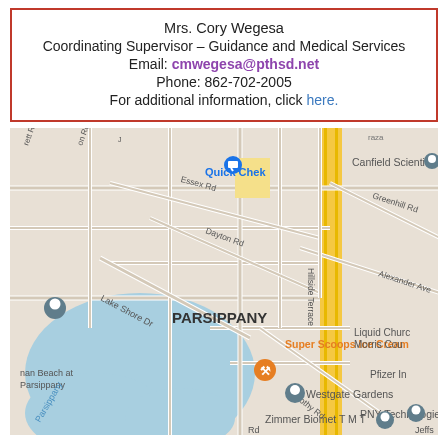Mrs. Cory Wegesa
Coordinating Supervisor – Guidance and Medical Services
Email: cmwegesa@pthsd.net
Phone: 862-702-2005
For additional information, click here.
[Figure (map): Google Maps view of Parsippany, NJ area showing local streets, landmarks including Quick Chek, Canfield Scientific, Super Scoops Ice Cream, Westgate Gardens, PNY Technologies, Zimmer Biomet TMT, Liquid Church Morris County, Pfizer, and a lake (Parsippany). Roads include Essex Rd, Dayton Rd, Lake Shore Dr, Greenhill Rd, Alexander Ave, Hillside Terrace, Dorothy Rd.]